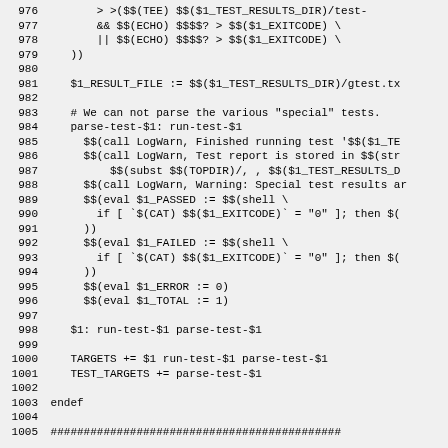Source code / Makefile snippet, lines 976-1005